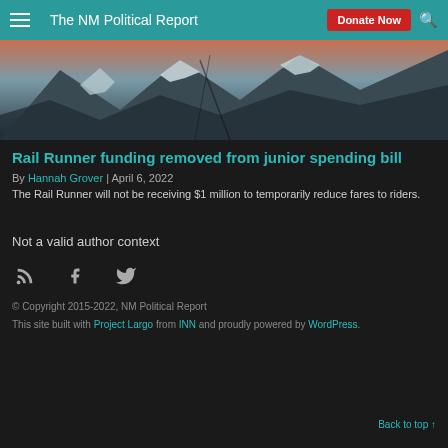The NM Political Report
[Figure (photo): Aerial or landscape photo of snowy mountains/terrain, dark tones]
Rail Runner funding removed from junior spending bill
By Hannah Grover | April 6, 2022
The Rail Runner will not be receiving $1 million to temporarily reduce fares to riders.
Not a valid author context
© Copyright 2015-2022, NM Political Report
This site built with Project Largo from INN and proudly powered by WordPress.
Back to top ↑